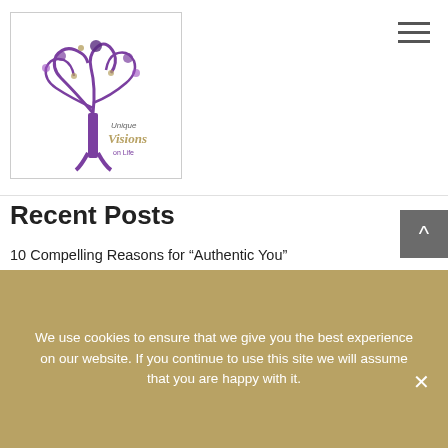[Figure (logo): Unique Visions on Life logo — decorative tree with purple and gold text]
Recent Posts
10 Compelling Reasons for “Authentic You”
Blended Coaching Why I don’t just do Life Coaching and Why I don’t just focus on Executive Coaching?
A Christmas Carol – Your (Potential) Story
The 90 Day Year: Six Steps to becoming a High Performer
We use cookies to ensure that we give you the best experience on our website. If you continue to use this site we will assume that you are happy with it.